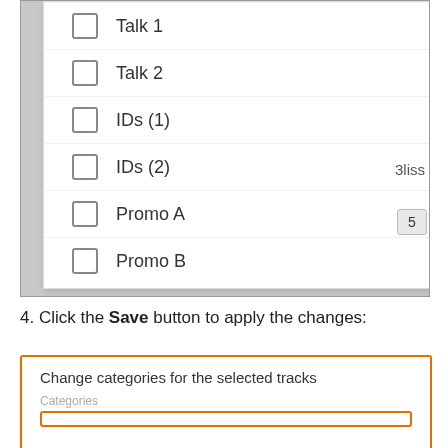[Figure (screenshot): Dropdown panel with checkboxes: Talk 1 (partially visible), Talk 2, IDs (1), IDs (2), Promo A, Promo B. Background shows a table with 'Bliss' label and number '5' visible on the right side.]
4. Click the Save button to apply the changes:
[Figure (screenshot): Dialog box titled 'Change categories for the selected tracks' with a Categories label and an orange-bordered input field at the bottom.]